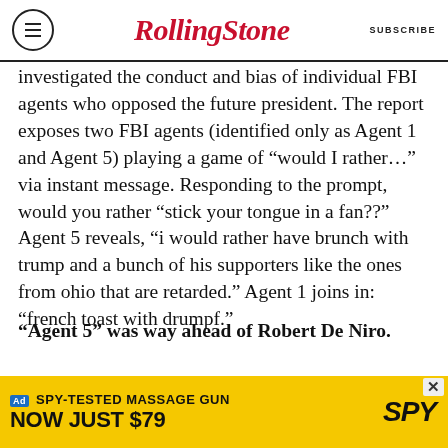RollingStone | SUBSCRIBE
investigated the conduct and bias of individual FBI agents who opposed the future president. The report exposes two FBI agents (identified only as Agent 1 and Agent 5) playing a game of “would I rather…” via instant message. Responding to the prompt, would you rather “stick your tongue in a fan??” Agent 5 reveals, “i would rather have brunch with trump and a bunch of his supporters like the ones from ohio that are retarded.” Agent 1 joins in: “french toast with drumpf.”
“Agent 5” was way ahead of Robert De Niro.
Agent 5, described by the IG as “an experienced counterintelligence agent,” was not subtle in her
[Figure (other): Advertisement banner: SPY-TESTED MASSAGE GUN NOW JUST $79 on yellow background with SPY logo]